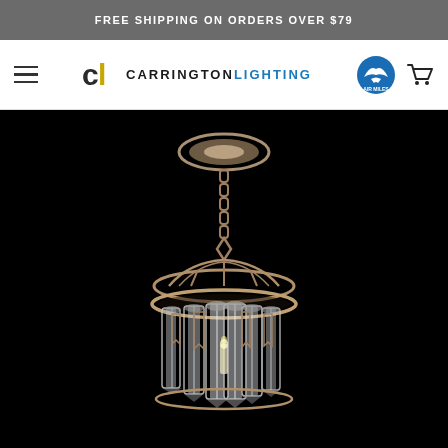FREE SHIPPING ON ORDERS OVER $79
[Figure (logo): Carrington Lighting website header with hamburger menu, Carrington Lighting logo (CL monogram with text), Air Miles reward badge, and shopping cart icon]
[Figure (photo): Crystal chandelier pendant light with silver/pewter finish, hanging chain, dome cage frame, and elongated crystal prisms arranged in a cylinder, photographed against a black background]